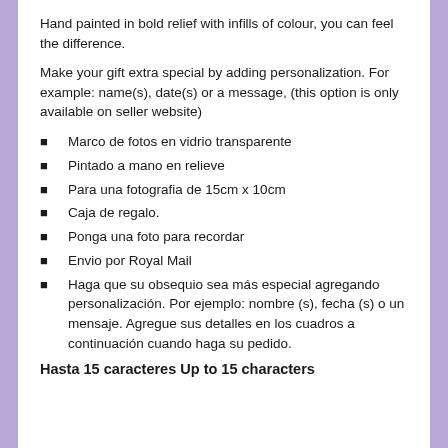Hand painted in bold relief with infills of colour, you can feel the difference.
Make your gift extra special by adding personalization. For example: name(s), date(s) or a message, (this option is only available on seller website)
Marco de fotos en vidrio transparente
Pintado a mano en relieve
Para una fotografia de 15cm x 10cm
Caja de regalo.
Ponga una foto para recordar
Envio por Royal Mail
Haga que su obsequio sea más especial agregando personalización. Por ejemplo: nombre (s), fecha (s) o un mensaje. Agregue sus detalles en los cuadros a continuación cuando haga su pedido.
Hasta 15 caracteres Up to 15 characters